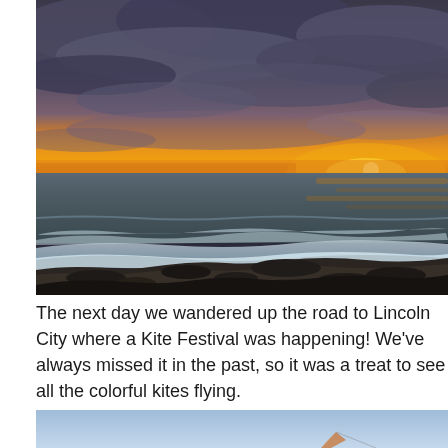[Figure (photo): Dramatic coastal sunset photo showing ocean waves crashing on rocky shoreline with vivid orange and yellow sunset on the horizon beneath heavy grey and purple storm clouds.]
The next day we wandered up the road to Lincoln City where a Kite Festival was happening! We've always missed it in the past, so it was a treat to see all the colorful kites flying.
[Figure (photo): Partial photo showing a light blue sky with what appears to be a kite or bird visible at the bottom edge.]